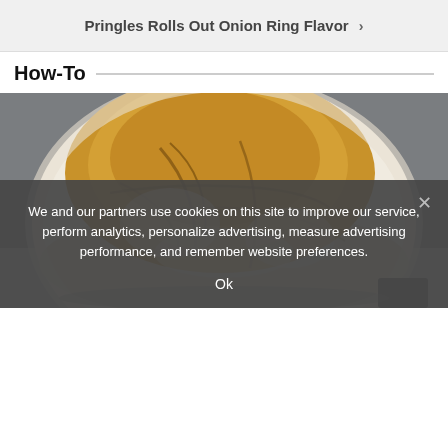Pringles Rolls Out Onion Ring Flavor >
How-To
[Figure (photo): A round rustic sourdough bread loaf with a golden-brown scored crust, dusted with flour, photographed on a gray surface against a gray background.]
We and our partners use cookies on this site to improve our service, perform analytics, personalize advertising, measure advertising performance, and remember website preferences.
Ok